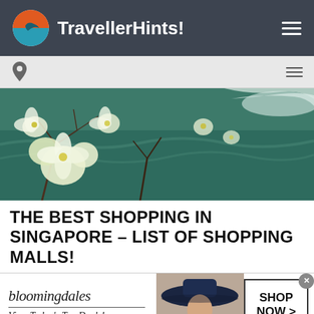TravellerHints!
[Figure (photo): Outdoor scene with white blossoms on tree branches in foreground, green water in background with white water splash/wave]
THE BEST SHOPPING IN SINGAPORE – LIST OF SHOPPING MALLS!
[Figure (other): Bloomingdale's advertisement banner: 'bloomingdales / View Today's Top Deals!' with woman in wide-brim hat and 'SHOP NOW >' button]